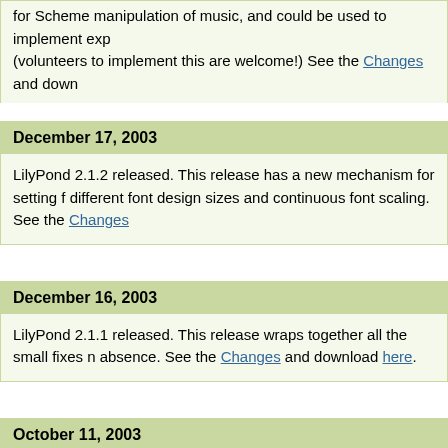for Scheme manipulation of music, and could be used to implement exp (volunteers to implement this are welcome!) See the Changes and down
December 17, 2003
LilyPond 2.1.2 released. This release has a new mechanism for setting f different font design sizes and continuous font scaling. See the Changes
December 16, 2003
LilyPond 2.1.1 released. This release wraps together all the small fixes n absence. See the Changes and download here.
October 11, 2003
LilyPond 2.1.0 released. See the Changes and download here.
October 11, 2003